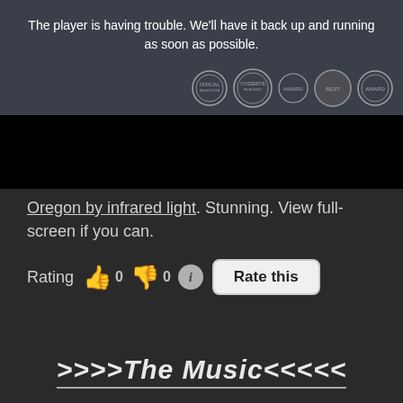[Figure (screenshot): Video player showing error message and award festival laurels at bottom right, with a dark landscape background. Lower portion is a solid black bar.]
Oregon by infrared light. Stunning. View full-screen if you can.
Rating 👍 0 👎 0 ℹ Rate this
>>>>The Music<<<<<